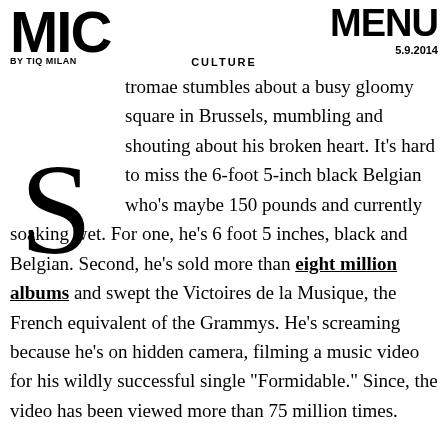MIC | BY TIQ MILAN | CULTURE | MENU 5.9.2014
Stromae stumbles about a busy gloomy square in Brussels, mumbling and shouting about his broken heart. It's hard to miss the 6-foot 5-inch black Belgian who's maybe 150 pounds and currently soaking wet. For one, he's 6 foot 5 inches, black and Belgian. Second, he's sold more than eight million albums and swept the Victoires de la Musique, the French equivalent of the Grammys. He's screaming because he's on hidden camera, filming a music video for his wildly successful single "Formidable." Since, the video has been viewed more than 75 million times.